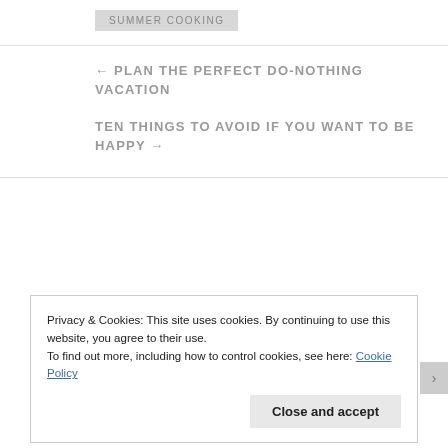SUMMER COOKING
← PLAN THE PERFECT DO-NOTHING VACATION
TEN THINGS TO AVOID IF YOU WANT TO BE HAPPY →
Privacy & Cookies: This site uses cookies. By continuing to use this website, you agree to their use.
To find out more, including how to control cookies, see here: Cookie Policy
Close and accept